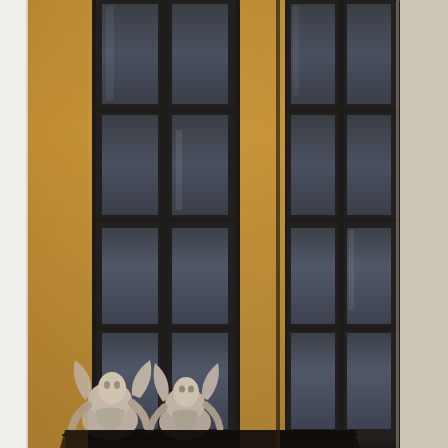[Figure (photo): Close-up photograph of a classical European building facade. The ochre/golden-yellow stucco wall features two tall, dark-framed sash windows with multiple panes arranged vertically. Below the windows, ornate stone caryatid or atlante sculptures (human/figural architectural supports) are visible, partially in shadow. A dark window sill or ledge projects outward. On the far right edge, a lighter-colored adjacent building is partially visible. The image has a narrow white margin on the left side.]